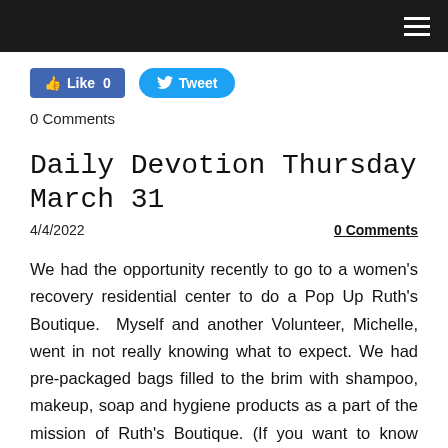[Figure (other): Social sharing buttons: Facebook Like button showing count 0, and Twitter Tweet button]
0 Comments
Daily Devotion Thursday March 31
4/4/2022   0 Comments
We had the opportunity recently to go to a women's recovery residential center to do a Pop Up Ruth's Boutique.  Myself and another Volunteer, Michelle, went in not really knowing what to expect. We had pre-packaged bags filled to the brim with shampoo, makeup, soap and hygiene products as a part of the mission of Ruth's Boutique. (If you want to know more